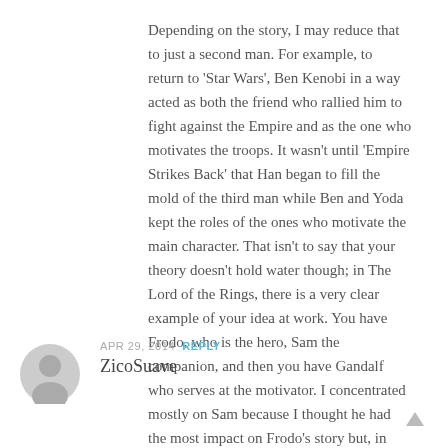Depending on the story, I may reduce that to just a second man. For example, to return to 'Star Wars', Ben Kenobi in a way acted as both the friend who rallied him to fight against the Empire and as the one who motivates the troops. It wasn't until 'Empire Strikes Back' that Han began to fill the mold of the third man while Ben and Yoda kept the roles of the ones who motivate the main character. That isn't to say that your theory doesn't hold water though; in The Lord of the Rings, there is a very clear example of your idea at work. You have Frodo, who is the hero, Sam the companion, and then you have Gandalf who serves at the motivator. I concentrated mostly on Sam because I thought he had the most impact on Frodo's story but, in truth, the whole trilogy is teeming with supporting characters. I appreciate your comment Cassie 🙂
APR 29, 2014 REPLY
ZicoSuave